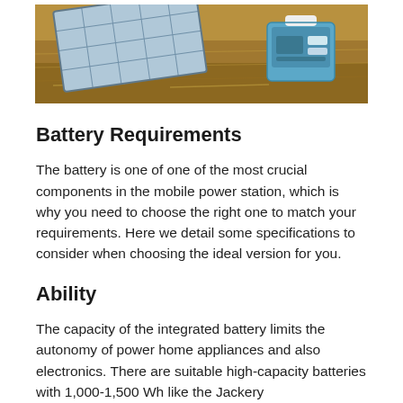[Figure (photo): Photo of solar panels laid on dry grass/hay ground with a blue and white portable power station box beside them]
Battery Requirements
The battery is one of one of the most crucial components in the mobile power station, which is why you need to choose the right one to match your requirements. Here we detail some specifications to consider when choosing the ideal version for you.
Ability
The capacity of the integrated battery limits the autonomy of power home appliances and also electronics. There are suitable high-capacity batteries with 1,000-1,500 Wh like the Jackery